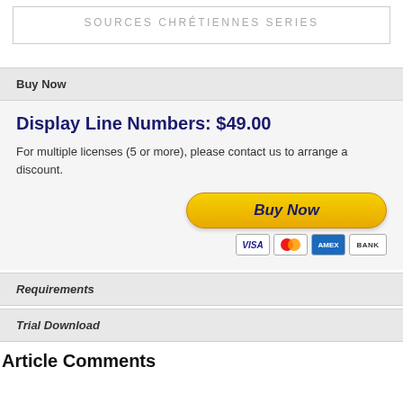SOURCES CHRÉTIENNES SERIES
Buy Now
Display Line Numbers: $49.00
For multiple licenses (5 or more), please contact us to arrange a discount.
[Figure (other): PayPal Buy Now button with payment icons: VISA, Mastercard, Amex, BANK]
Requirements
Trial Download
Article Comments